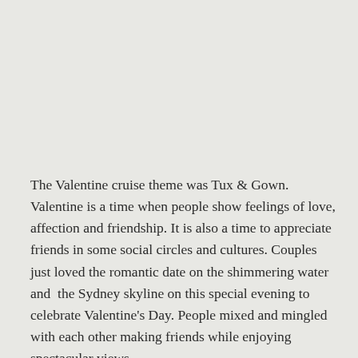The Valentine cruise theme was Tux & Gown. Valentine is a time when people show feelings of love, affection and friendship. It is also a time to appreciate friends in some social circles and cultures. Couples just loved the romantic date on the shimmering water and  the Sydney skyline on this special evening to celebrate Valentine's Day. People mixed and mingled with each other making friends while enjoying spectacular views.